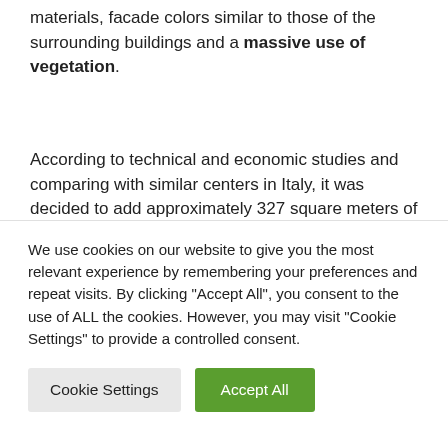materials, facade colors similar to those of the surrounding buildings and a massive use of vegetation.
According to technical and economic studies and comparing with similar centers in Italy, it was decided to add approximately 327 square meters of support space to the “sports area”. The spatial distribution of the site...
We use cookies on our website to give you the most relevant experience by remembering your preferences and repeat visits. By clicking “Accept All”, you consent to the use of ALL the cookies. However, you may visit "Cookie Settings" to provide a controlled consent.